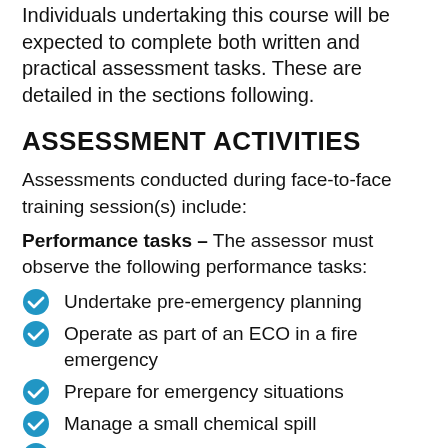Individuals undertaking this course will be expected to complete both written and practical assessment tasks. These are detailed in the sections following.
ASSESSMENT ACTIVITIES
Assessments conducted during face-to-face training session(s) include:
Performance tasks – The assessor must observe the following performance tasks:
Undertake pre-emergency planning
Operate as part of an ECO in a fire emergency
Prepare for emergency situations
Manage a small chemical spill
Put out a small paper/wood fire